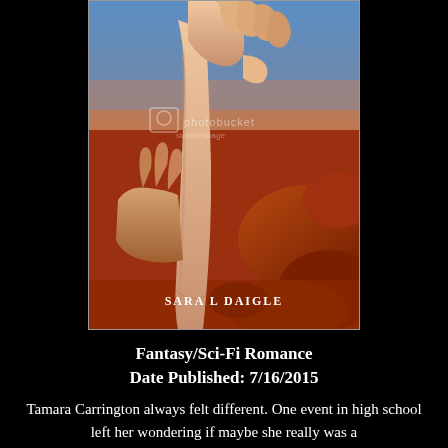[Figure (photo): Book cover for a Fantasy/Sci-Fi Romance novel by Sara L Daigle, showing hands grasping a wrist against a red rocky desert landscape with blue sky, with a Photobucket watermark overlay.]
Fantasy/Sci-Fi Romance
Date Published: 7/16/2015
Tamara Carrington always felt different. One event in high school left her wondering if maybe she really was a